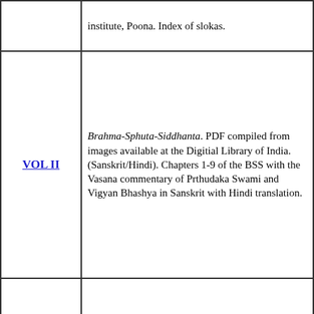|  | institute, Poona. Index of slokas. |
| VOL II | Brahma-Sphuta-Siddhanta. PDF compiled from images available at the Digitial Library of India.(Sanskrit/Hindi). Chapters 1-9 of the BSS with the Vasana commentary of Prthudaka Swami and Vigyan Bhashya in Sanskrit with Hindi translation. |
| VOL III | Brahma-Sphuta-Siddhanta. PDF compiled from images available at the Digitial Library of India.(Sanskrit/Hindi). Chapters 10-16 of the BSS with the Nutan Tilak commentary of Sudhakar Dwivedi and |